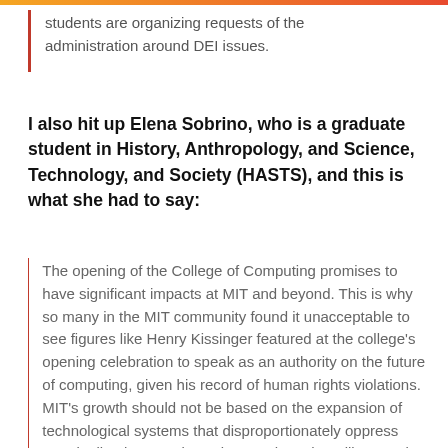students are organizing requests of the administration around DEI issues.
I also hit up Elena Sobrino, who is a graduate student in History, Anthropology, and Science, Technology, and Society (HASTS), and this is what she had to say:
The opening of the College of Computing promises to have significant impacts at MIT and beyond. This is why so many in the MIT community found it unacceptable to see figures like Henry Kissinger featured at the college's opening celebration to speak as an authority on the future of computing, given his record of human rights violations. MIT's growth should not be based on the expansion of technological systems that disproportionately oppress marginalized groups in society, such as the military and prisons. Hundreds of students,